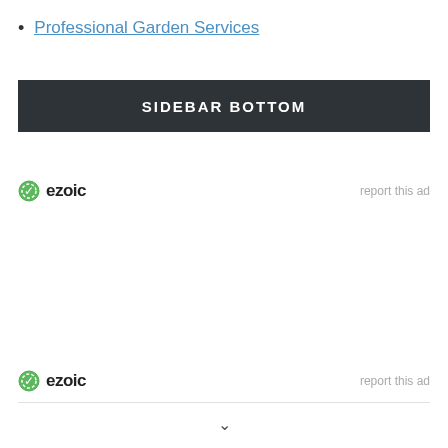Professional Garden Services
SIDEBAR BOTTOM
[Figure (logo): Ezoic logo with green checkmark icon and 'ezoic' text, with 'report this ad' link to the right]
[Figure (logo): Ezoic logo with green checkmark icon and 'ezoic' text, with 'report this ad' link to the right]